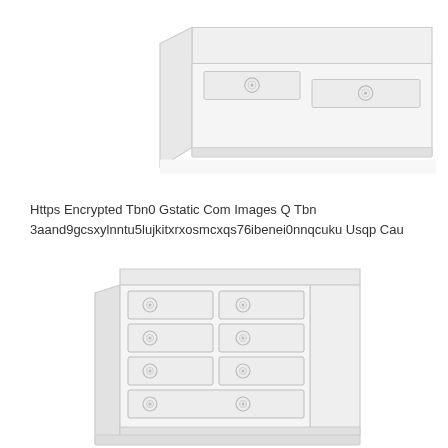[Figure (illustration): Top portion of a white wooden dresser/chest of drawers, showing the top rail with two circular drawer pulls visible, cropped at top and bottom edges.]
Https Encrypted Tbn0 Gstatic Com Images Q Tbn 3aand9gcsxylnntu5lujkitxrxosmcxqs76ibenei0nnqcuku Usqp Cau
[Figure (illustration): A white wooden chest of drawers/dresser shown in a slightly angled perspective view. The dresser has multiple rows of drawers with small circular ring pulls. The piece has a classic/traditional style with panel detailing and a flat top.]